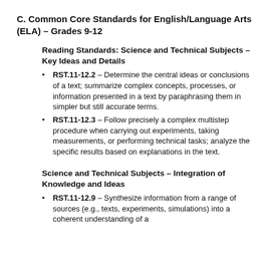C. Common Core Standards for English/Language Arts (ELA) – Grades 9-12
Reading Standards: Science and Technical Subjects – Key Ideas and Details
RST.11-12.2 – Determine the central ideas or conclusions of a text; summarize complex concepts, processes, or information presented in a text by paraphrasing them in simpler but still accurate terms.
RST.11-12.3 – Follow precisely a complex multistep procedure when carrying out experiments, taking measurements, or performing technical tasks; analyze the specific results based on explanations in the text.
Science and Technical Subjects – Integration of Knowledge and Ideas
RST.11-12.9 – Synthesize information from a range of sources (e.g., texts, experiments, simulations) into a coherent understanding of a